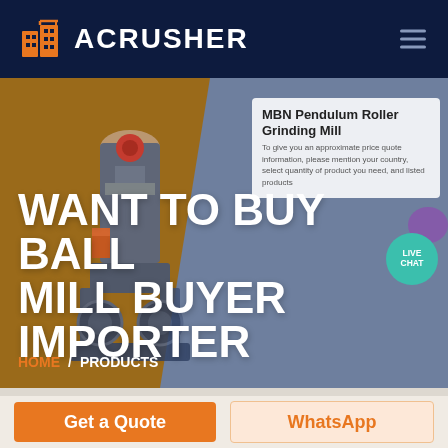[Figure (logo): ACRUSHER logo with orange building/crusher icon and white text on dark navy background, with hamburger menu icon on right]
[Figure (screenshot): Hero banner with industrial ball mill machine on brown/amber left background, gray-blue right half with diagonal split, white bold title text 'WANT TO BUY BALL MILL BUYER IMPORTER', and a product card showing 'MBN Pendulum Roller Grinding Mill' with small descriptive text. Breadcrumb HOME / PRODUCTS shown at bottom. LIVE CHAT circular button visible on right side.]
WANT TO BUY BALL MILL BUYER IMPORTER
MBN Pendulum Roller Grinding Mill
HOME / PRODUCTS
Get a Quote
WhatsApp